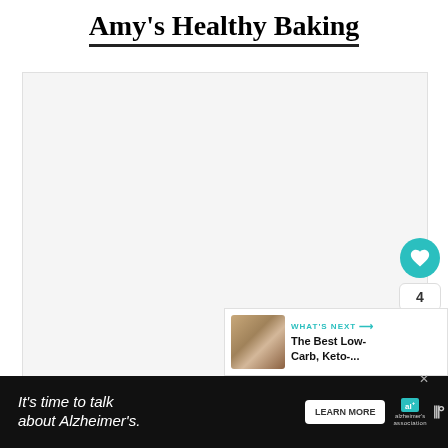Amy's Healthy Baking
[Figure (photo): Large image placeholder area for a food/baking photo]
[Figure (infographic): Social sidebar with heart/like button (teal circle), count of 4, and share button (circle with share icon)]
[Figure (infographic): What's Next panel showing a thumbnail and text 'The Best Low-Carb, Keto-...' with a teal arrow label 'WHAT'S NEXT']
[Figure (infographic): Advertisement banner: black background with italic white text 'It’s time to talk about Alzheimer’s.' with LEARN MORE button, Alzheimer's Association logo, and close X icon]